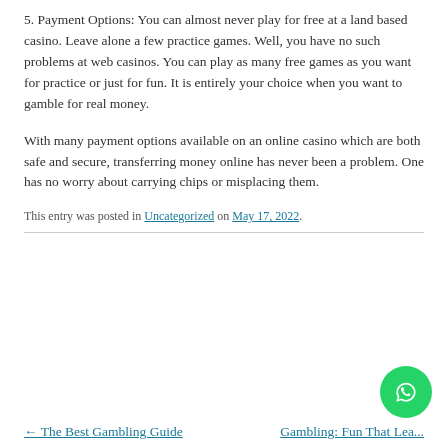5. Payment Options: You can almost never play for free at a land based casino. Leave alone a few practice games. Well, you have no such problems at web casinos. You can play as many free games as you want for practice or just for fun. It is entirely your choice when you want to gamble for real money.
With many payment options available on an online casino which are both safe and secure, transferring money online has never been a problem. One has no worry about carrying chips or misplacing them.
This entry was posted in Uncategorized on May 17, 2022.
← The Best Gambling Guide | Gambling: Fun That Lea...